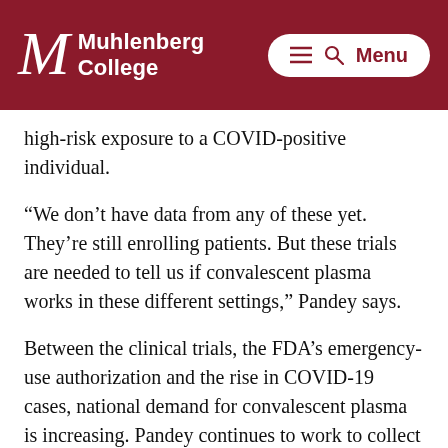Muhlenberg College — Menu
high-risk exposure to a COVID-positive individual.
“We don’t have data from any of these yet. They’re still enrolling patients. But these trials are needed to tell us if convalescent plasma works in these different settings,” Pandey says.
Between the clinical trials, the FDA’s emergency-use authorization and the rise in COVID-19 cases, national demand for convalescent plasma is increasing. Pandey continues to work to collect it while simultaneously ensuring the Blood Center has adequate reserves of blood for the hospitals it serves—no small feat in an